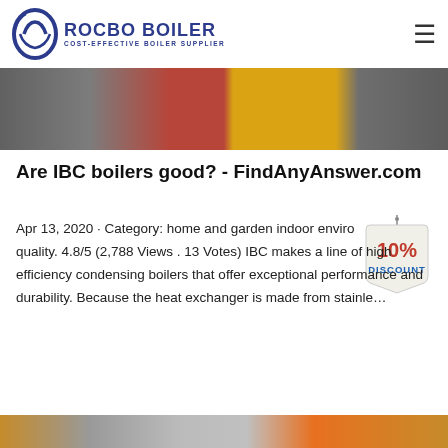[Figure (logo): Rocbo Boiler logo with circular icon and text 'ROCBO BOILER - COST-EFFECTIVE BOILER SUPPLIER']
[Figure (photo): Industrial boiler equipment photo showing red tank, yellow pipes, and machinery]
Are IBC boilers good? - FindAnyAnswer.com
[Figure (other): 10% DISCOUNT badge/sticker]
Apr 13, 2020 · Category: home and garden indoor environment quality. 4.8/5 (2,788 Views . 13 Votes) IBC makes a line of high efficiency condensing boilers that offer exceptional performance and durability. Because the heat exchanger is made from stainle…
[Figure (photo): Industrial boiler facility photo showing orange pipes, large cylindrical boiler vessel, and orange pipework]
Get Price